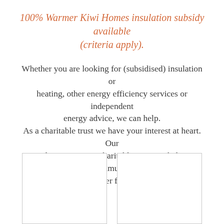100% Warmer Kiwi Homes insulation subsidy available (criteria apply).
Whether you are looking for (subsidised) insulation or heating, other energy efficiency services or independent energy advice, we can help. As a charitable trust we have your interest at heart. Our surpluses go to our charitable projects, helping households in the community keep warmer and healthier for less.
[Figure (photo): Empty white rectangular box with light grey border (left image placeholder)]
[Figure (photo): Empty white rectangular box with light grey border (right image placeholder)]